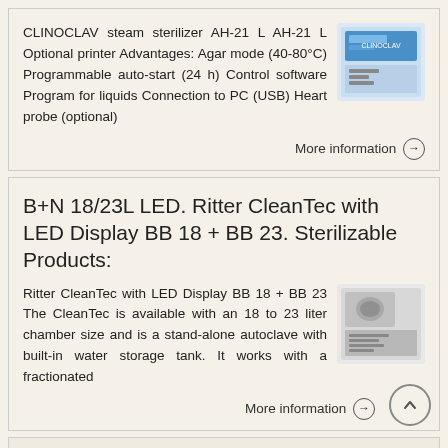CLINOCLAV steam sterilizer AH-21 L AH-21 L Optional printer Advantages: Agar mode (40-80°C) Programmable auto-start (24 h) Control software Program for liquids Connection to PC (USB) Heart probe (optional)
[Figure (photo): Photo of CLINOCLAV steam sterilizer device with blue display]
More information →
B+N 18/23L LED. Ritter CleanTec with LED Display BB 18 + BB 23. Sterilizable Products:
Ritter CleanTec with LED Display BB 18 + BB 23 The CleanTec is available with an 18 to 23 liter chamber size and is a stand-alone autoclave with built-in water storage tank. It works with a fractionated
[Figure (photo): Photo of Ritter CleanTec autoclave device with document/brochure]
More information →